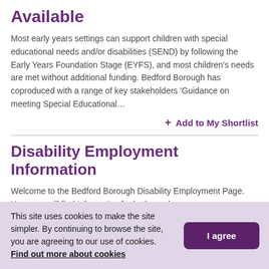Available
Most early years settings can support children with special educational needs and/or disabilities (SEND) by following the Early Years Foundation Stage (EYFS), and most children's needs are met without additional funding. Bedford Borough has coproduced with a range of key stakeholders 'Guidance on meeting Special Educational…
+ Add to My Shortlist
Disability Employment Information
Welcome to the Bedford Borough Disability Employment Page. Here you will find information for both employers
This site uses cookies to make the site simpler. By continuing to browse the site, you are agreeing to our use of cookies. Find out more about cookies